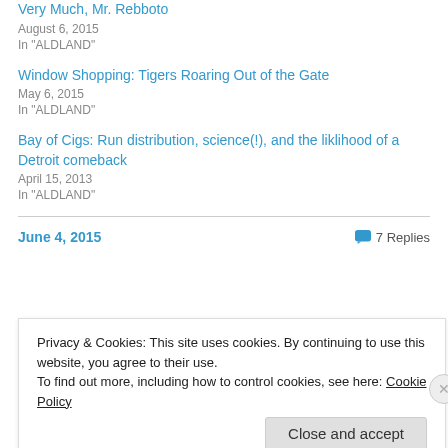Very Much, Mr. Rebboto
August 6, 2015
In "ALDLAND"
Window Shopping: Tigers Roaring Out of the Gate
May 6, 2015
In "ALDLAND"
Bay of Cigs: Run distribution, science(!), and the liklihood of a Detroit comeback
April 15, 2013
In "ALDLAND"
June 4, 2015
7 Replies
Privacy & Cookies: This site uses cookies. By continuing to use this website, you agree to their use.
To find out more, including how to control cookies, see here: Cookie Policy
Close and accept